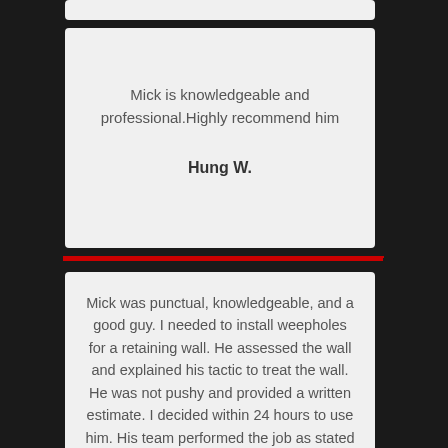Mick is knowledgeable and professional.Highly recommend him
Hung W.
Mick was punctual, knowledgeable, and a good guy. I needed to install weepholes for a retaining wall. He assessed the wall and explained his tactic to treat the wall. He was not pushy and provided a written estimate. I decided within 24 hours to use him. His team performed the job as stated and I am happy with the outcome. I would definitely...